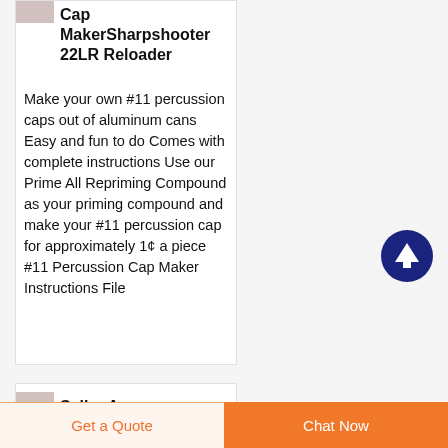[Figure (photo): Small product thumbnail image in upper left of card]
Cap MakerSharpshooter 22LR Reloader
Make your own #11 percussion caps out of aluminum cans Easy and fun to do Comes with complete instructions Use our Prime All Repriming Compound as your priming compound and make your #11 percussion cap for approximately 1¢ a piece #11 Percussion Cap Maker Instructions File
[Figure (other): Dark navy circle button with white upward arrow (scroll to top)]
[Figure (photo): Small product thumbnail image for second card (partially visible)]
Seller A...
Get a Quote
Chat Now